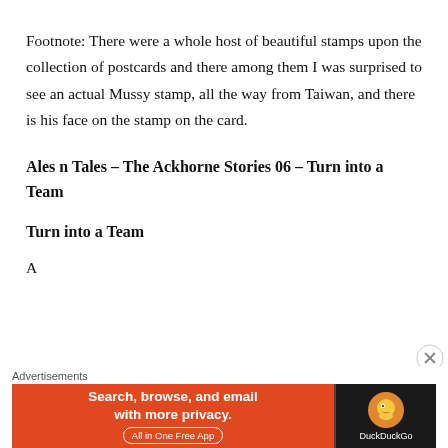Footnote: There were a whole host of beautiful stamps upon the collection of postcards and there among them I was surprised to see an actual Mussy stamp, all the way from Taiwan, and there is his face on the stamp on the card.
Ales n Tales – The Ackhorne Stories 06 – Turn into a Team
Turn into a Team
A…
[Figure (other): DuckDuckGo advertisement banner: orange left side with text 'Search, browse, and email with more privacy. All in One Free App' and dark right side with DuckDuckGo logo]